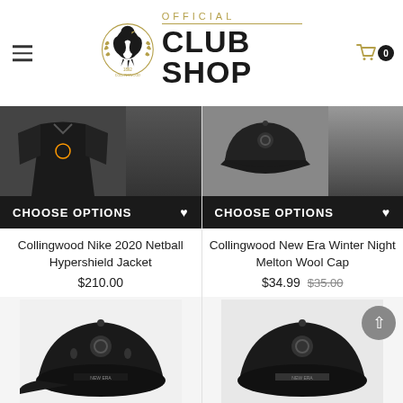[Figure (logo): Collingwood Football Club Official Club Shop logo with magpie bird emblem and text OFFICIAL CLUB SHOP in gold and black]
[Figure (photo): Collingwood Nike 2020 Netball Hypershield Jacket product image - dark jacket on black background]
CHOOSE OPTIONS
Collingwood Nike 2020 Netball Hypershield Jacket
$210.00
[Figure (photo): Collingwood New Era Winter Night Melton Wool Cap product image - black cap on dark background]
CHOOSE OPTIONS
Collingwood New Era Winter Night Melton Wool Cap
$34.99 $35.00
[Figure (photo): Black Collingwood cap product image - bottom row left]
[Figure (photo): Black Collingwood cap product image - bottom row right]